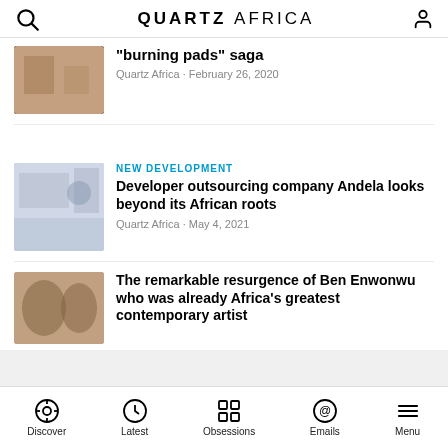QUARTZ AFRICA
"burning pads" saga — Quartz Africa · February 26, 2020
NEW DEVELOPMENT — Developer outsourcing company Andela looks beyond its African roots — Quartz Africa · May 4, 2021
The remarkable resurgence of Ben Enwonwu who was already Africa's greatest contemporary artist
Discover | Latest | Obsessions | Emails | Menu